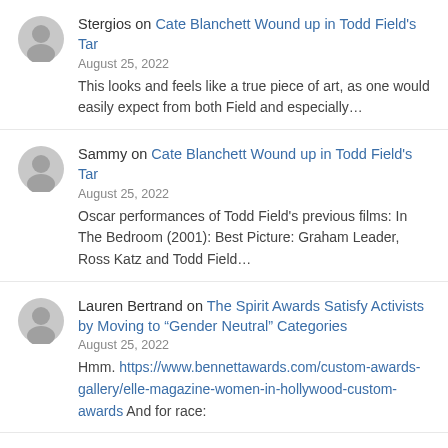Stergios on Cate Blanchett Wound up in Todd Field's Tar
August 25, 2022
This looks and feels like a true piece of art, as one would easily expect from both Field and especially...
Sammy on Cate Blanchett Wound up in Todd Field's Tar
August 25, 2022
Oscar performances of Todd Field's previous films: In The Bedroom (2001): Best Picture: Graham Leader, Ross Katz and Todd Field...
Lauren Bertrand on The Spirit Awards Satisfy Activists by Moving to “Gender Neutral” Categories
August 25, 2022
Hmm. https://www.bennettawards.com/custom-awards-gallery/elle-magazine-women-in-hollywood-custom-awards And for race: